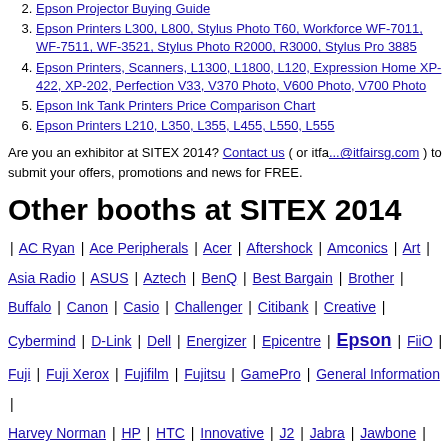2. Epson Projector Buying Guide
3. Epson Printers L300, L800, Stylus Photo T60, Workforce WF-7011, WF-7511, WF-3521, Stylus Photo R2000, R3000, Stylus Pro 3885
4. Epson Printers, Scanners, L1300, L1800, L120, Expression Home XP-422, XP-202, Perfection V33, V370 Photo, V600 Photo, V700 Photo
5. Epson Ink Tank Printers Price Comparison Chart
6. Epson Printers L210, L350, L355, L455, L550, L555
Are you an exhibitor at SITEX 2014? Contact us ( or itfa...@itfairsg.com ) to submit your offers, promotions and news for FREE.
Other booths at SITEX 2014
| AC Ryan | Ace Peripherals | Acer | Aftershock | Amconics | Art | Asia Radio | ASUS | Aztech | BenQ | Best Bargain | Brother | Buffalo | Canon | Casio | Challenger | Citibank | Creative | Cybermind | D-Link | Dell | Energizer | Epicentre | Epson | FiiO | Fuji | Fuji Xerox | Fujifilm | Fujitsu | GamePro | General Information | Harvey Norman | HP | HTC | Innovative | J2 | Jabra | Jawbone | Klipsch | Lau Intl | Lenovo | Logitech | M1 | Marbella GPS |